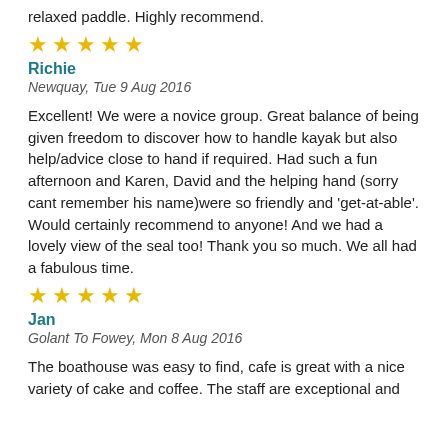relaxed paddle. Highly recommend.
[Figure (other): 5 gold stars rating]
Richie
Newquay, Tue 9 Aug 2016
Excellent! We were a novice group. Great balance of being given freedom to discover how to handle kayak but also help/advice close to hand if required. Had such a fun afternoon and Karen, David and the helping hand (sorry cant remember his name)were so friendly and 'get-at-able'. Would certainly recommend to anyone! And we had a lovely view of the seal too! Thank you so much. We all had a fabulous time.
[Figure (other): 5 gold stars rating]
Jan
Golant To Fowey, Mon 8 Aug 2016
The boathouse was easy to find, cafe is great with a nice variety of cake and coffee. The staff are exceptional and